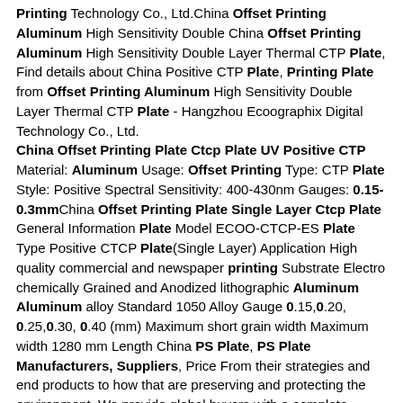Printing Technology Co., Ltd.China Offset Printing Aluminum High Sensitivity Double China Offset Printing Aluminum High Sensitivity Double Layer Thermal CTP Plate, Find details about China Positive CTP Plate, Printing Plate from Offset Printing Aluminum High Sensitivity Double Layer Thermal CTP Plate - Hangzhou Ecoographix Digital Technology Co., Ltd. China Offset Printing Plate Ctcp Plate UV Positive CTP Material: Aluminum Usage: Offset Printing Type: CTP Plate Style: Positive Spectral Sensitivity: 400-430nm Gauges: 0.15-0.3mmChina Offset Printing Plate Single Layer Ctcp Plate General Information Plate Model ECOO-CTCP-ES Plate Type Positive CTCP Plate(Single Layer) Application High quality commercial and newspaper printing Substrate Electro chemically Grained and Anodized lithographic Aluminum Aluminum alloy Standard 1050 Alloy Gauge 0.15,0.20, 0.25,0.30, 0.40 (mm) Maximum short grain width Maximum width 1280 mm Length China PS Plate, PS Plate Manufacturers, Suppliers, Price From their strategies and end products to how that are preserving and protecting the environment. We provide global buyers with a complete resource for their packaging needs such as cheap China PS Plate. You can also find other packaging and printing solutions such as printing plate, aluminum plate, offset plate with competitive price.